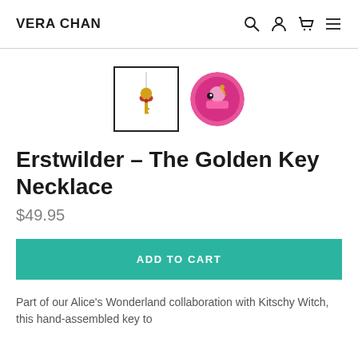VERA CHAN
[Figure (photo): Two product thumbnail images: first shows a gold key necklace on white background (selected, with border), second shows a round tin with colorful illustration]
Erstwilder – The Golden Key Necklace
$49.95
ADD TO CART
Part of our Alice's Wonderland collaboration with Kitschy Witch, this hand-assembled key to